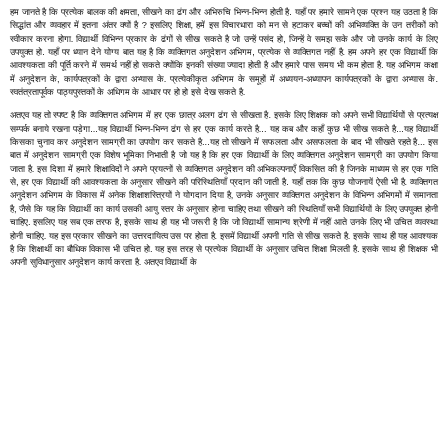हम जानते है कि प्रत्येक बालक की क्षमता, सीखने का ढंग और अभिरुचि भिन्न-भिन्न होती है. यहाँ पर हमारे सामने एक प्रश्न यह उठता है कि सिद्धांत और व्यवहार में इतना अंतर क्यों है ? इसलिए शिक्षा, हमें इस विचारधारा को मन से हटाकर बच्चों की अभिव्यक्ति के उन तरीकों को स्वीकार करना होगा. विद्यार्थी विभिन्न प्रकार के ढंगों से सीख सकते है जो उन्हें पसंद हो, जिन्हें वे समझ सके और जो उनके कार्य के लिए उपयुक्त हो. यहाँ पर ध्यान देने योग्य बात यह है कि व्यक्तिगत अनुदेशन अभिगम, प्रत्येक से व्यक्तिगत नहीं है. हम अपने हर एक विद्यार्थी कि आवश्यकता की पूर्ति करने में समर्थ नहीं हो सकते क्योंकि इनकी संख्या ज्यादा होती है और हमारे पास समय भी कम होता है. यह अभिगम कक्षा में अनुदेशन के, कार्यपत्रकों के द्वारा अभ्यास के. प्रत्येकीकृत अभिगम के समूहों में अध्ययन-अध्यापन कार्यपत्रकों के द्वारा अभ्यास के. स्वतंत्रतापूर्वक पाठ्यपुस्तकों के अधिगम के आधार पर हो हो इसे देख सकते है.
अतएव यह तो स्पष्ट है कि व्यक्तिगत अभिगम में हर एक छात्र अलग ढंग से सीखता है. इसके लिए शिक्षक को अपने सभी विद्यार्थियों से प्रत्यक्ष सम्पर्क बनाये रखना पड़ेगा...यह विद्यार्थी भिन्न-भिन्न ढंग से हर एक कार्य करते है... यह कब और कहाँ कुछ भी सीख सकते है...यह विद्यार्थी किसका चुनाव कर अनुदेशन सामग्री का उपयोग कर सकते है...यह तो सीखने में सफलता और असफलता के बाद भी सीखते रहते है... इस बात में अनुदेशन सामग्री एक विशेष भूमिका निभाती है जो यह है कि हर एक विद्यार्थी के लिए व्यक्तिगत अनुदेशन सामग्री का उपयोग किया जाता है. इस दिशा में हमारे शिक्षाविदों ने अपने प्रयत्नों से व्यक्तिगत अनुदेशन की अभिकल्पनाएँ विकसित की है जिनके माध्यम से हर एक गति से, हर एक विद्यार्थी की आवश्यकता के अनुसार सीखने की परिस्थितियाँ प्रदान की जाती है. यहाँ तक कि कुछ योजनायें ऐसी भी है. व्यक्तिगत अनुदेशन अभिगम के विकास में अनेक शिक्षाशस्त्रियों ने योगदान दिया है, उनके अनुसार व्यक्तिगत अनुदेशन के विभिन्न अभिगमों में समानता है, जैसे कि यह कि विद्यार्थी का कार्य उसकी आयु स्तर के अनुसार होना चाहिए तथा सीखने की स्थितियाँ सभी विद्यार्थियों के लिए उपयुक्त होनी चाहिए. इसलिए यह सब एक तरफ है, इसके साथ ही यह भी जरूरी है कि जो विद्यार्थी सामान्य श्रेणी में नहीं आते उनके लिए भी उचित व्यवस्था होनी चाहिए. यह इस प्रकार सीखने का उत्तरदायित्व उस पर होता है. इसमें विद्यार्थी अपनी गति से सीख सकते है. इसके साथ ही यह आवश्यक है कि शिक्षार्थी का बौधिक विकास भी उचित हो. यह इस तरह से प्रत्येक विद्यार्थी के अनुसार उचित शिक्षा मिलती है. इसके साथ ही शिक्षक भी अपनी सुविधानुसार अनुदेशन कार्य करता है. अतएव विद्यार्थी के